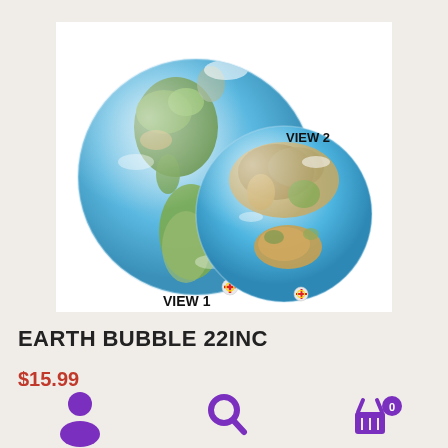[Figure (photo): Two Earth globe balloons showing different views of the world. The left balloon labeled VIEW 1 shows the Americas. The right balloon labeled VIEW 2 shows Asia and Australia. Both are translucent bubble balloons with realistic Earth imagery.]
EARTH BUBBLE 22INC
$15.99
[Figure (infographic): Bottom navigation bar with three purple icons: a user/person icon on the left, a search magnifying glass in the center, and a shopping basket with a '0' badge on the right.]